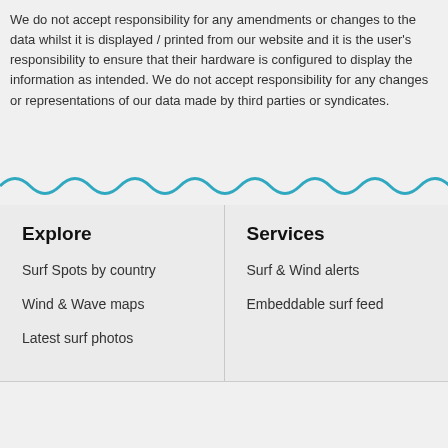We do not accept responsibility for any amendments or changes to the data whilst it is displayed / printed from our website and it is the user's responsibility to ensure that their hardware is configured to display the information as intended. We do not accept responsibility for any changes or representations of our data made by third parties or syndicates.
[Figure (illustration): Wavy blue decorative divider line]
Explore
Surf Spots by country
Wind & Wave maps
Latest surf photos
Services
Surf & Wind alerts
Embeddable surf feed